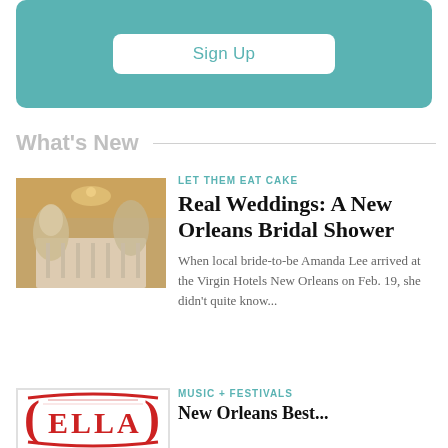[Figure (other): Teal rounded rectangle banner with a white Sign Up button]
What's New
[Figure (photo): Interior of an elegantly decorated wedding venue with floral arrangements and long banquet tables]
LET THEM EAT CAKE
Real Weddings: A New Orleans Bridal Shower
When local bride-to-be Amanda Lee arrived at the Virgin Hotels New Orleans on Feb. 19, she didn't quite know...
[Figure (logo): ELLA logo in red and white with decorative border]
MUSIC + FESTIVALS
New Orleans Best...